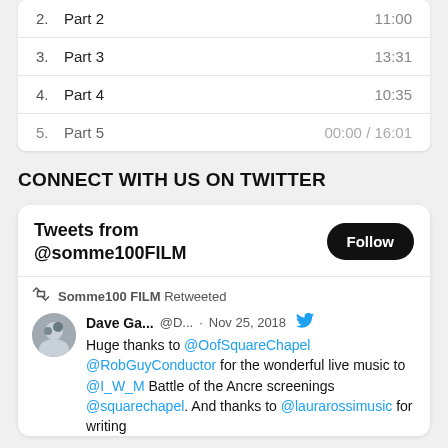2. Part 2   11:00
3. Part 3   13:31
4. Part 4   10:35
5. Part 5   00:00 / 16:01
CONNECT WITH US ON TWITTER
Tweets from @somme100FILM
Somme100 FILM Retweeted
Dave Ga... @D... · Nov 25, 2018 Huge thanks to @OofSquareChapel @RobGuyConductor for the wonderful live music to @I_W_M Battle of the Ancre screenings @squarechapel. And thanks to @laurarossimusic for writing